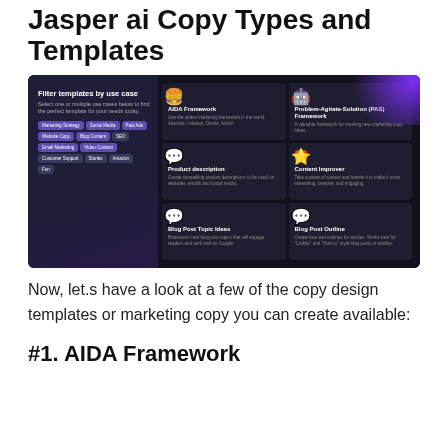Jasper ai Copy Types and Templates
[Figure (screenshot): Screenshot of Jasper AI template selection interface showing a dark-themed UI with filter panel on left and template cards on right including AIDA Framework, Problem-Agitate-Solution (PAS) Framework, Product description, Content Improver, Blog Post Topic Ideas, and Blog Post Outline]
Now, let.s have a look at a few of the copy design templates or marketing copy you can create available:
#1. AIDA Framework